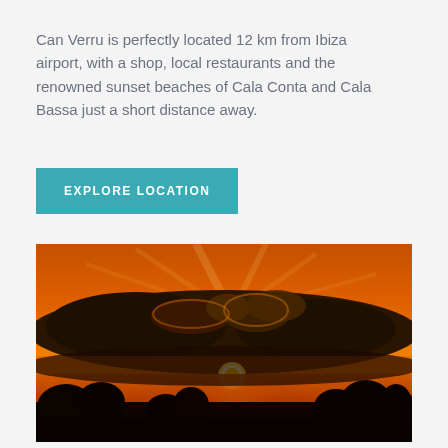Can Verru is perfectly located 12 km from Ibiza airport, with a shop, local restaurants and the renowned sunset beaches of Cala Conta and Cala Bassa just a short distance away.
EXPLORE LOCATION
[Figure (photo): A dramatic sunset photograph showing a bright orange sun low in the sky, partially obscured by dark, silhouetted clouds. Golden rays emanate from behind the clouds. The foreground shows dark silhouettes of trees against the vivid orange and golden sky.]